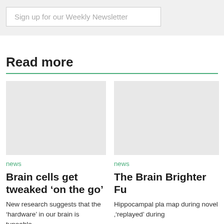Sign up for our Weekly Newsletter
Read more
news
Brain cells get tweaked ‘on the go’
New research suggests that the ‘hardware’ in our brain is tuneable
news
The Brain Brighter Fu
Hippocampal pla map during novel ‘replayed’ during